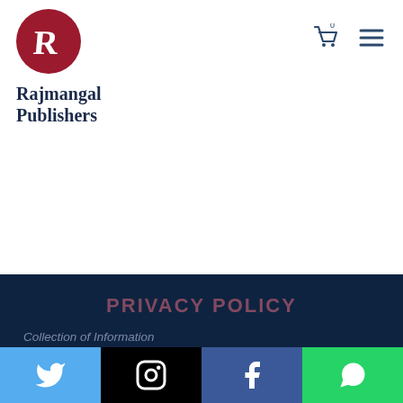[Figure (logo): Rajmangal Publishers circular logo with dark red/crimson background and stylized white R letter]
Rajmangal Publishers
PRIVACY POLICY
Collection of Information
If you browse through our site without providing us with any personal information we will gather and store some information about your visit, such as IP address, type of browser and operating system used, date and time you access our site, pages you access and if you linked to our website from another website, the address of that website. This information will not identify you personally.
[Figure (infographic): Social media icon bar at bottom: Twitter (light blue), Instagram (black), Facebook (blue), WhatsApp (green)]